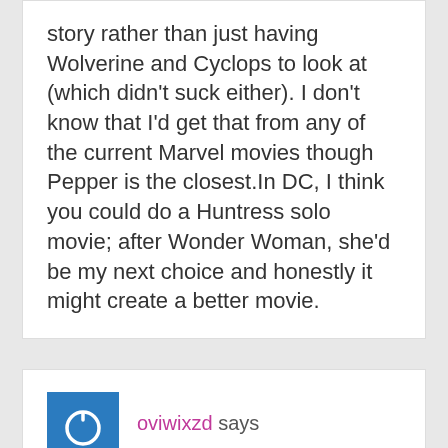story rather than just having Wolverine and Cyclops to look at (which didn't suck either). I don't know that I'd get that from any of the current Marvel movies though Pepper is the closest.In DC, I think you could do a Huntress solo movie; after Wonder Woman, she'd be my next choice and honestly it might create a better movie.
oviwixzd says